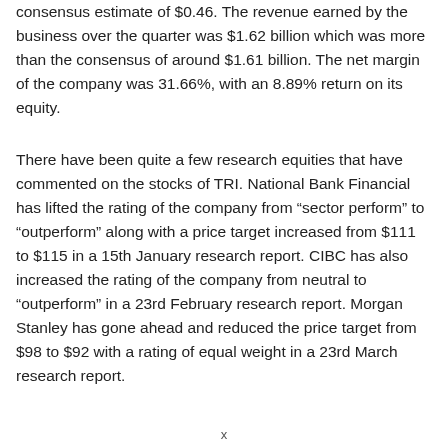consensus estimate of $0.46. The revenue earned by the business over the quarter was $1.62 billion which was more than the consensus of around $1.61 billion. The net margin of the company was 31.66%, with an 8.89% return on its equity.
There have been quite a few research equities that have commented on the stocks of TRI. National Bank Financial has lifted the rating of the company from “sector perform” to “outperform” along with a price target increased from $111 to $115 in a 15th January research report. CIBC has also increased the rating of the company from neutral to “outperform” in a 23rd February research report. Morgan Stanley has gone ahead and reduced the price target from $98 to $92 with a rating of equal weight in a 23rd March research report.
x